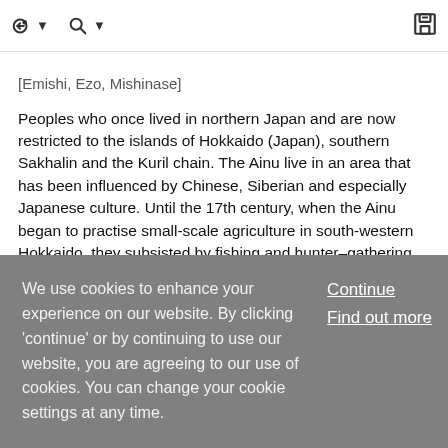toolbar with navigation icons
[Emishi, Ezo, Mishinase]
Peoples who once lived in northern Japan and are now restricted to the islands of Hokkaido (Japan), southern Sakhalin and the Kuril chain. The Ainu live in an area that has been influenced by Chinese, Siberian and especially Japanese culture. Until the 17th century, when the Ainu began to practise small-scale agriculture in south-western Hokkaido, they subsisted by fishing and hunter–gathering. Although the gradual Japanese colonization of Hokkaido had almost eradicated Ainu culture by the early 20th century, the post-war period has wit
We use cookies to enhance your experience on our website. By clicking 'continue' or by continuing to use our website, you are agreeing to our use of cookies. You can change your cookie settings at any time.